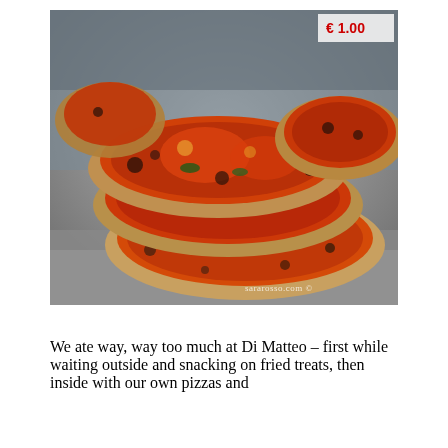[Figure (photo): Close-up photograph of several Neapolitan-style pizzas with tomato sauce and charred crusts stacked on a metal surface in a pizzeria display. A price tag showing '€ 1.00' is visible in the upper right corner. A watermark reads 'sararosso.com ©'.]
We ate way, way too much at Di Matteo – first while waiting outside and snacking on fried treats, then inside with our own pizzas and